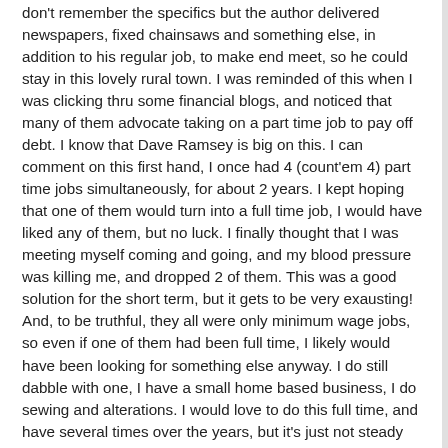don't remember the specifics but the author delivered newspapers, fixed chainsaws and something else, in addition to his regular job, to make end meet, so he could stay in this lovely rural town. I was reminded of this when I was clicking thru some financial blogs, and noticed that many of them advocate taking on a part time job to pay off debt. I know that Dave Ramsey is big on this. I can comment on this first hand, I once had 4 (count'em 4) part time jobs simultaneously, for about 2 years. I kept hoping that one of them would turn into a full time job, I would have liked any of them, but no luck. I finally thought that I was meeting myself coming and going, and my blood pressure was killing me, and dropped 2 of them. This was a good solution for the short term, but it gets to be very exausting! And, to be truthful, they all were only minimum wage jobs, so even if one of them had been full time, I likely would have been looking for something else anyway. I do still dabble with one, I have a small home based business, I do sewing and alterations. I would love to do this full time, and have several times over the years, but it's just not steady enough income in this area. I like to know that we can pay the bills every week, not just the week when everybody needs a zipper in their jacket. Maybe I should learn to fix chainsaws?
Posted in Debt, Personal Finance, Saving Money | 1 Comments »
[Figure (other): Facebook Like button widget with Sign Up link and text 'to see what your friends like.']